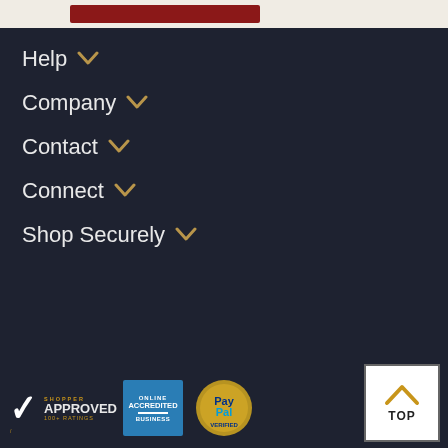[Figure (screenshot): Top bar with light background and red button element]
Help
Company
Contact
Connect
Shop Securely
[Figure (logo): Shopper Approved badge with 100+ ratings]
[Figure (logo): BBB Online Accredited Business badge]
[Figure (logo): PayPal Verified badge]
[Figure (other): TOP scroll-to-top button with upward chevron]